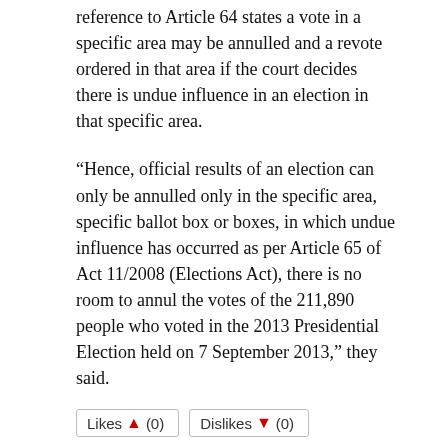reference to Article 64 states a vote in a specific area may be annulled and a revote ordered in that area if the court decides there is undue influence in an election in that specific area.
“Hence, official results of an election can only be annulled only in the specific area, specific ballot box or boxes, in which undue influence has occurred as per Article 65 of Act 11/2008 (Elections Act), there is no room to annul the votes of the 211,890 people who voted in the 2013 Presidential Election held on 7 September 2013,” they said.
Likes (0)   Dislikes (0)
Related Posts
[Figure (photo): Three thumbnail images: a dark navy blue image on the left, and two light blue bokeh-style images in the center and right.]